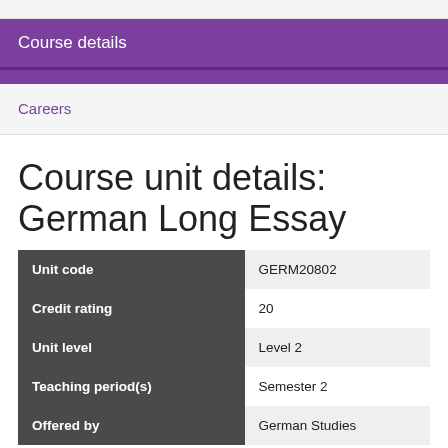Course details
Careers
Course unit details: German Long Essay
|  |  |
| --- | --- |
| Unit code | GERM20802 |
| Credit rating | 20 |
| Unit level | Level 2 |
| Teaching period(s) | Semester 2 |
| Offered by | German Studies |